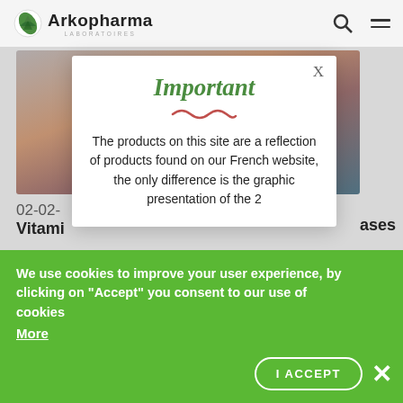[Figure (logo): Arkopharma Laboratoires logo with green leaf/arrow icon]
[Figure (photo): Person in brown jacket with city background]
02-02-
Vitami
ases
Important
The products on this site are a reflection of products found on our French website, the only difference is the graphic presentation of the 2
We use cookies to improve your user experience, by clicking on "Accept" you consent to our use of cookies
More
I ACCEPT